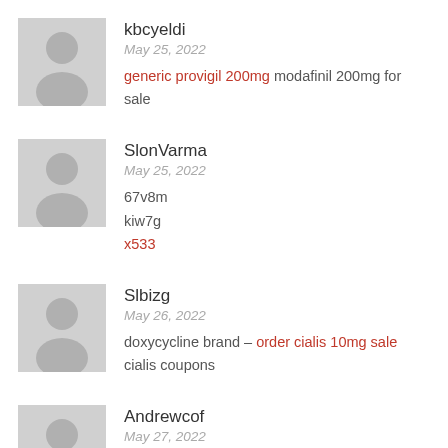[Figure (photo): Gray placeholder avatar silhouette for user kbcyeldi]
kbcyeldi
May 25, 2022
generic provigil 200mg modafinil 200mg for sale
[Figure (photo): Gray placeholder avatar silhouette for user SlonVarma]
SlonVarma
May 25, 2022
67v8m
kiw7g
x533
[Figure (photo): Gray placeholder avatar silhouette for user Slbizg]
Slbizg
May 26, 2022
doxycycline brand – order cialis 10mg sale cialis coupons
[Figure (photo): Gray placeholder avatar silhouette for user Andrewcof]
Andrewcof
May 27, 2022